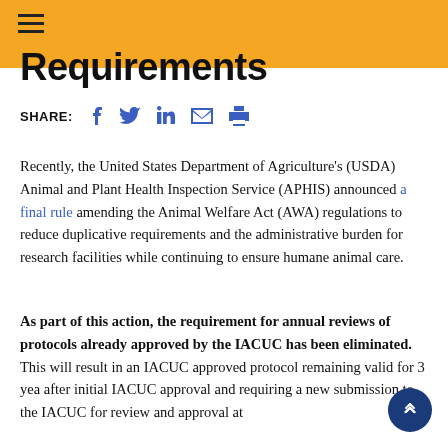Requirements
SHARE:
Recently, the United States Department of Agriculture's (USDA) Animal and Plant Health Inspection Service (APHIS) announced a final rule amending the Animal Welfare Act (AWA) regulations to reduce duplicative requirements and the administrative burden for research facilities while continuing to ensure humane animal care.
As part of this action, the requirement for annual reviews of protocols already approved by the IACUC has been eliminated. This will result in an IACUC approved protocol remaining valid for 3 years after initial IACUC approval and requiring a new submission to the IACUC for review and approval at